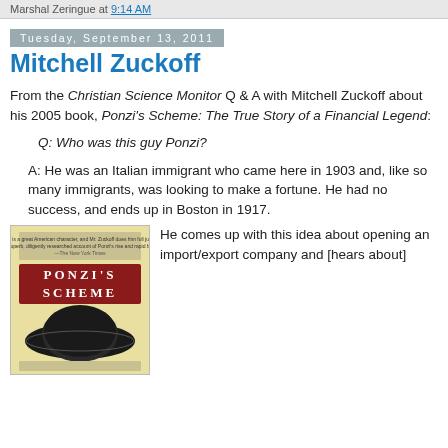Marshal Zeringue at 9:14 AM
Tuesday, September 13, 2011
Mitchell Zuckoff
From the Christian Science Monitor Q & A with Mitchell Zuckoff about his 2005 book, Ponzi's Scheme: The True Story of a Financial Legend:
Q: Who was this guy Ponzi?
A: He was an Italian immigrant who came here in 1903 and, like so many immigrants, was looking to make a fortune. He had no success, and ends up in Boston in 1917.
[Figure (photo): Book cover of Ponzi's Scheme]
He comes up with this idea about opening an import/export company and [hears about]